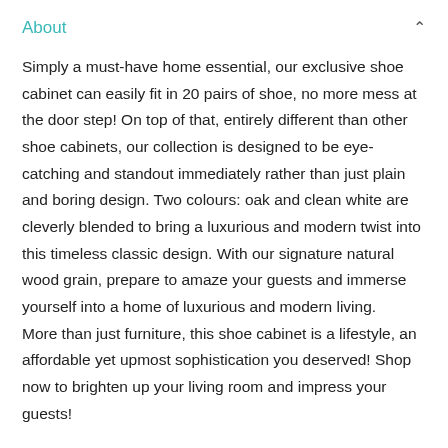About
Simply a must-have home essential, our exclusive shoe cabinet can easily fit in 20 pairs of shoe, no more mess at the door step! On top of that, entirely different than other shoe cabinets, our collection is designed to be eye-catching and standout immediately rather than just plain and boring design. Two colours: oak and clean white are cleverly blended to bring a luxurious and modern twist into this timeless classic design. With our signature natural wood grain, prepare to amaze your guests and immerse yourself into a home of luxurious and modern living.
More than just furniture, this shoe cabinet is a lifestyle, an affordable yet upmost sophistication you deserved! Shop now to brighten up your living room and impress your guests!